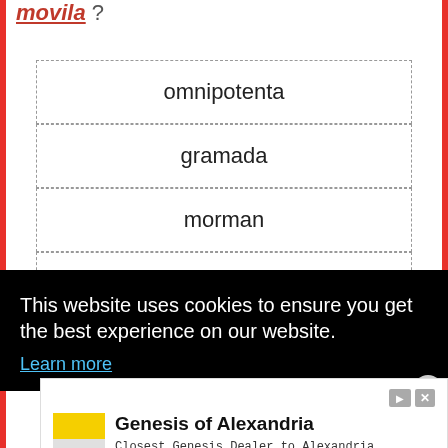movila ?
omnipotenta
gramada
morman
defila
AFLA RASPUNSUL CORECT!
This website uses cookies to ensure you get the best experience on our website.
Learn more
Genesis of Alexandria
Closest Genesis Dealer to Alexandria, Arlington, McLean, Falls Church and Washington DC.
Genesis of Alexandria
Open